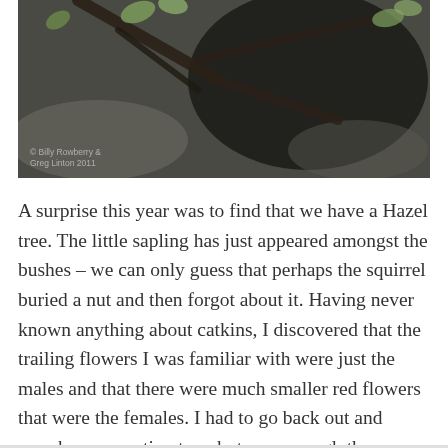[Figure (photo): A close-up photo of dark branches or twigs with small green leaves against a blurred background. A watermark in the lower left reads '© Billy Rowberry & Greg Linton 2011'.]
A surprise this year was to find that we have a Hazel tree. The little sapling has just appeared amongst the bushes – we can only guess that perhaps the squirrel buried a nut and then forgot about it. Having never known anything about catkins, I discovered that the trailing flowers I was familiar with were just the males and that there were much smaller red flowers that were the females. I had to go back out and search over our tiny tree, but sure enough there were female flowers too – you learn something new every day! The red female flowers are tiny in comparison and barely noticeable.